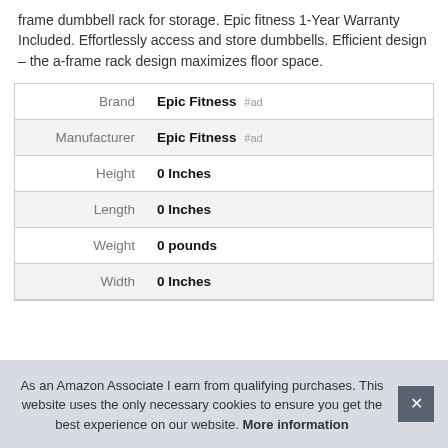frame dumbbell rack for storage. Epic fitness 1-Year Warranty Included. Effortlessly access and store dumbbells. Efficient design – the a-frame rack design maximizes floor space.
|  |  |
| --- | --- |
| Brand | Epic Fitness #ad |
| Manufacturer | Epic Fitness #ad |
| Height | 0 Inches |
| Length | 0 Inches |
| Weight | 0 pounds |
| Width | 0 Inches |
As an Amazon Associate I earn from qualifying purchases. This website uses the only necessary cookies to ensure you get the best experience on our website. More information